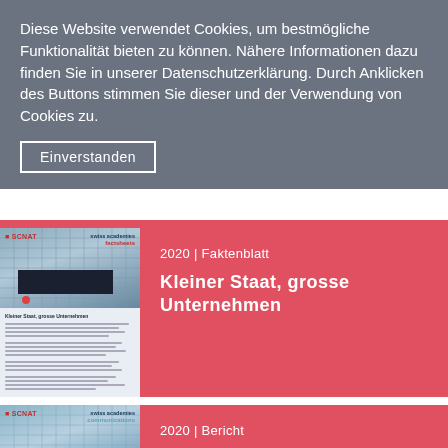Diese Website verwendet Cookies, um bestmögliche Funktionalität bieten zu können. Nähere Informationen dazu finden Sie in unserer Datenschutzerklärung. Durch Anklicken des Buttons stimmen Sie dieser und der Verwendung von Cookies zu.
Einverstanden
2020 | Faktenblatt
Kleiner Staat, grosse Unternehmen
2020 | Bericht
Kleiner Staat, grosse